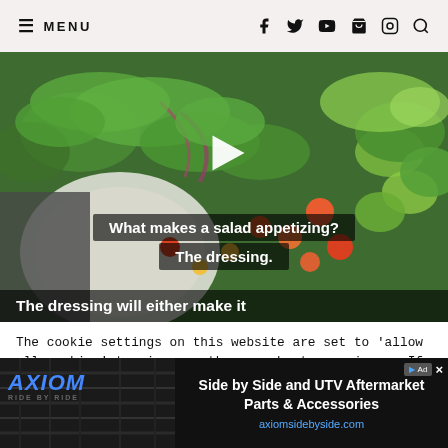≡ MENU
[Figure (screenshot): Video thumbnail of a colorful salad bowl with greens, cherry tomatoes, avocado, and microgreens. A white play button triangle is centered. Overlay text reads: 'What makes a salad appetizing? The dressing.' and 'The dressing will either make it']
The cookie settings on this website are set to 'allow all cookies' to give you the very best experience. If you continue without changing these settings, you consent to this – but if you want, you can change your settings at any time at the bottom of this page settings...
[Figure (screenshot): Advertisement banner for AXIOM 'Ride by Ride' showing Side by Side and UTV Aftermarket Parts & Accessories at axiomsidebyside.com]